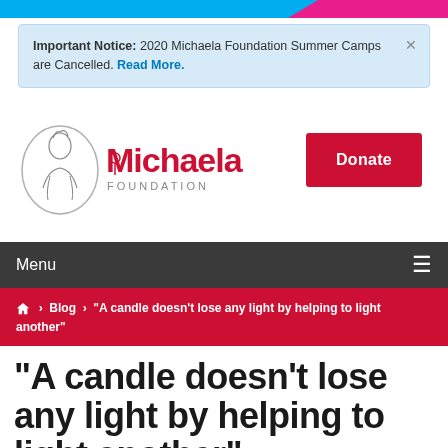Top decorative bar (blue and pink)
Important Notice: 2020 Michaela Foundation Summer Camps are Cancelled. Read More.
[Figure (logo): Michaela Foundation logo with illustrated woman and rose-decorated M]
Donate
Menu
Home > Blog > "A candle doesn’t lose any light by helping to light another"
“A candle doesn’t lose any light by helping to light another”